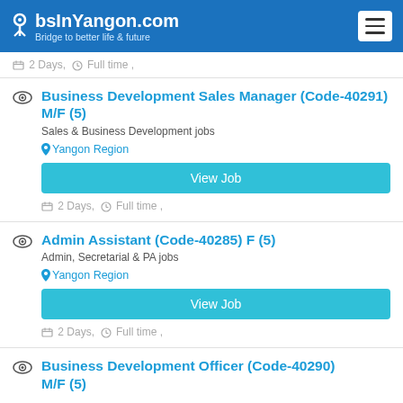JobsInYangon.com – Bridge to better life & future
2 Days, Full time ,
Business Development Sales Manager (Code-40291) M/F  (5)
Sales & Business Development jobs
Yangon Region
View Job
2 Days, Full time ,
Admin Assistant (Code-40285) F  (5)
Admin, Secretarial & PA jobs
Yangon Region
View Job
2 Days, Full time ,
Business Development Officer (Code-40290) M/F  (5)